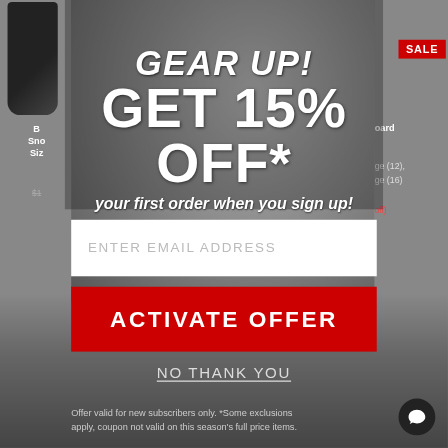[Figure (photo): Background showing blurred e-commerce product page with snowboard boots on left, snowboard products on right with SALE badge, and a snowboarder action photo in the center-background]
GEAR UP!
GET 15% OFF*
your first order when you sign up!
ENTER EMAIL ADDRESS
ACTIVATE OFFER
NO THANK YOU
Offer valid for new subscribers only. *Some exclusions apply, coupon not valid on this season's full price items.